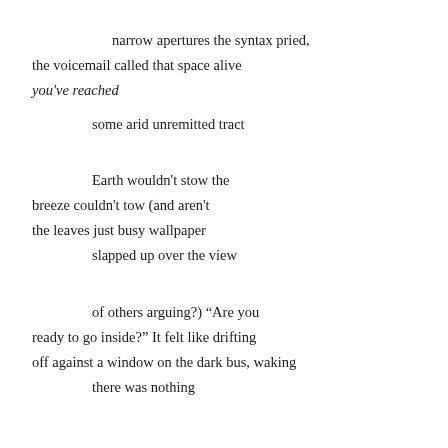narrow apertures the syntax pried,
the voicemail called that space alive
you've reached
    some arid unremitted tract

Earth wouldn't stow the
breeze couldn't tow (and aren't
the leaves just busy wallpaper
    slapped up over the view

    of others arguing?) “Are you
ready to go inside?” It felt like drifting
off against a window on the dark bus, waking
    there was nothing